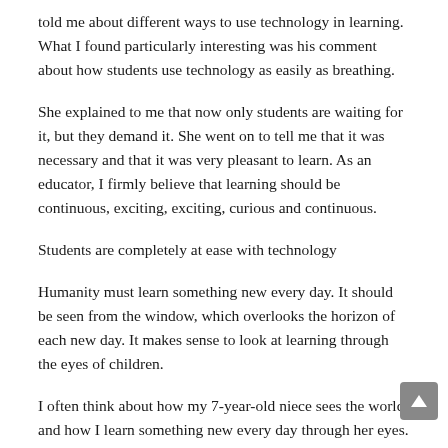told me about different ways to use technology in learning. What I found particularly interesting was his comment about how students use technology as easily as breathing.
She explained to me that now only students are waiting for it, but they demand it. She went on to tell me that it was necessary and that it was very pleasant to learn. As an educator, I firmly believe that learning should be continuous, exciting, exciting, curious and continuous.
Students are completely at ease with technology
Humanity must learn something new every day. It should be seen from the window, which overlooks the horizon of each new day. It makes sense to look at learning through the eyes of children.
I often think about how my 7-year-old niece sees the world and how I learn something new every day through her eyes. Like Digital Natives, she wears an iPad and regularly shares videos, cartoons, games, songs, etc. with me. I can literally say that I am studying what a 7-year-old is learning.